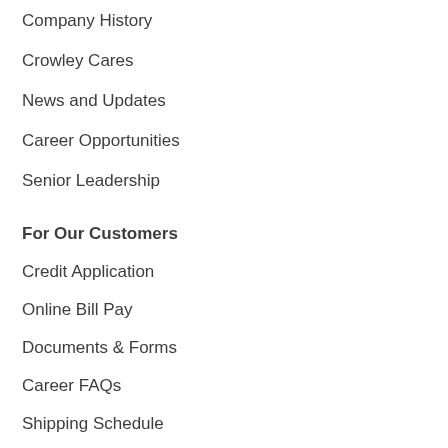Company History
Crowley Cares
News and Updates
Career Opportunities
Senior Leadership
For Our Customers
Credit Application
Online Bill Pay
Documents & Forms
Career FAQs
Shipping Schedule
Resources